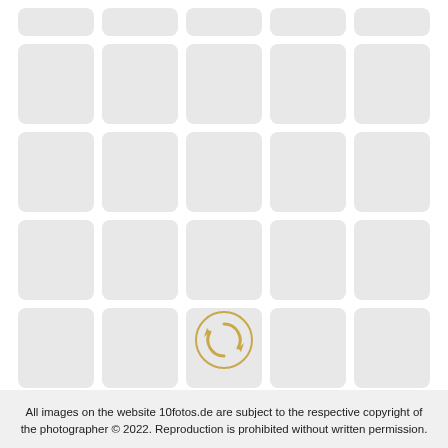[Figure (other): Grid of 25 gray placeholder image tiles arranged in 5 columns and 5 rows (plus a partial top row), with rounded corners, representing loading/placeholder photo thumbnails on a photo gallery website.]
[Figure (other): Circular reload/refresh icon in gold/tan color, indicating a load more or refresh button below the image grid.]
All images on the website 10fotos.de are subject to the respective copyright of the photographer © 2022. Reproduction is prohibited without written permission.